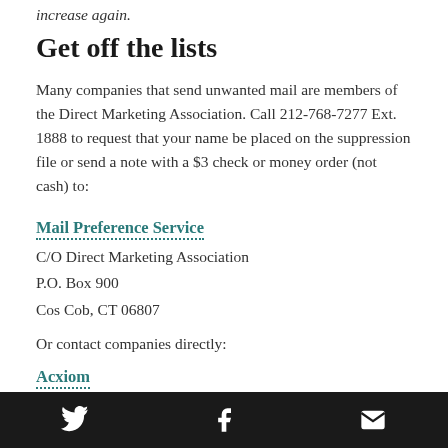increase again.
Get off the lists
Many companies that send unwanted mail are members of the Direct Marketing Association. Call 212-768-7277 Ext. 1888 to request that your name be placed on the suppression file or send a note with a $3 check or money order (not cash) to:
Mail Preference Service
C/O Direct Marketing Association
P.O. Box 900
Cos Cob, CT 06807
Or contact companies directly:
Acxiom
877-774-2094
Twitter | Facebook | Email